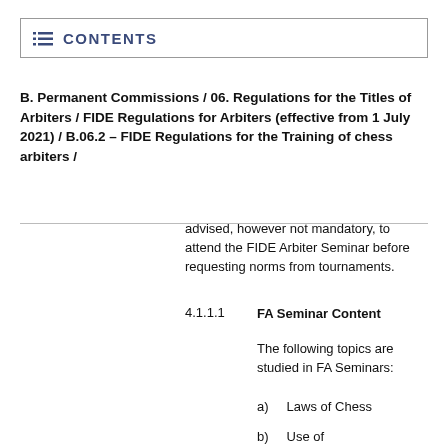CONTENTS
B. Permanent Commissions / 06. Regulations for the Titles of Arbiters / FIDE Regulations for Arbiters (effective from 1 July 2021) / B.06.2 – FIDE Regulations for the Training of chess arbiters /
advised, however not mandatory, to attend the FIDE Arbiter Seminar before requesting norms from tournaments.
4.1.1.1    FA Seminar Content
The following topics are studied in FA Seminars:
a)    Laws of Chess
b)    Use of